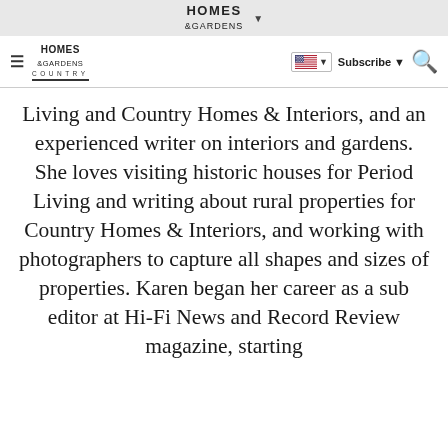HOMES & GARDENS
[Figure (logo): Homes & Gardens Country logo with navigation bar including hamburger menu, flag/language selector, Subscribe button, and search icon]
Living and Country Homes & Interiors, and an experienced writer on interiors and gardens. She loves visiting historic houses for Period Living and writing about rural properties for Country Homes & Interiors, and working with photographers to capture all shapes and sizes of properties. Karen began her career as a sub editor at Hi-Fi News and Record Review magazine, starting